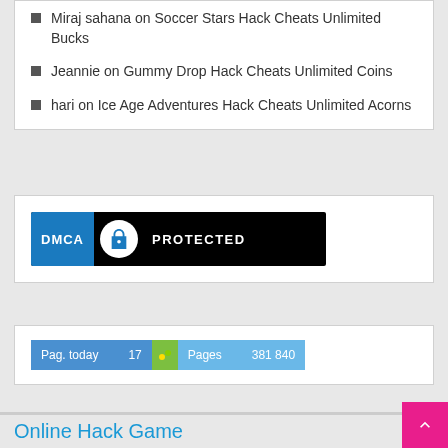Miraj sahana on Soccer Stars Hack Cheats Unlimited Bucks
Jeannie on Gummy Drop Hack Cheats Unlimited Coins
hari on Ice Age Adventures Hack Cheats Unlimited Acorns
[Figure (logo): DMCA Protected badge - black background with blue left panel showing DMCA text and lock icon, white text PROTECTED on right]
[Figure (infographic): Stats widget showing Pag. today: 17 and Pages: 381 840]
Online Hack Game